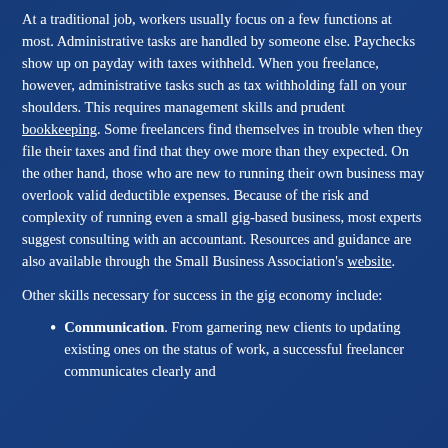At a traditional job, workers usually focus on a few functions at most. Administrative tasks are handled by someone else. Paychecks show up on payday with taxes withheld. When you freelance, however, administrative tasks such as tax withholding fall on your shoulders. This requires management skills and prudent bookkeeping. Some freelancers find themselves in trouble when they file their taxes and find that they owe more than they expected. On the other hand, those who are new to running their own business may overlook valid deductible expenses. Because of the risk and complexity of running even a small gig-based business, most experts suggest consulting with an accountant. Resources and guidance are also available through the Small Business Association's website.
Other skills necessary for success in the gig economy include:
Communication. From garnering new clients to updating existing ones on the status of work, a successful freelancer communicates clearly and frequently. There are best practices to understand and keep in mind when communicating.